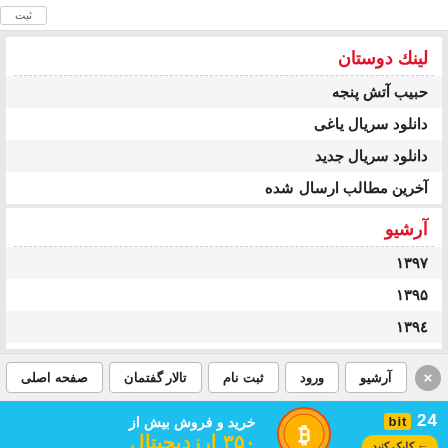لینك دوستان
حبیب آتش پنجه
دانلود سریال یاغی
دانلود سریال جدید
آخرین مطالب ارسال شده
آرشیو
۱۳۹۷
۱۳۹۵
۱۳۹٤
صفحه اصلی | تالار گفتمان | ثبت نام | ورود | آرشیو
[Figure (infographic): bit24 advertisement banner: خرید و فروش بیش از ۳۵۰ ارزدیجیتال]